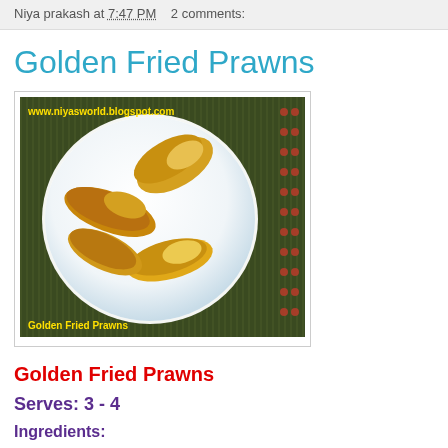Niya prakash at 7:47 PM   2 comments:
Golden Fried Prawns
[Figure (photo): Photo of golden fried prawns on a white plate, with dark striped background and red dot pattern. URL watermark: www.niyasworld.blogspot.com. Caption: Golden Fried Prawns]
Golden Fried Prawns
Serves: 3 - 4
Ingredients: